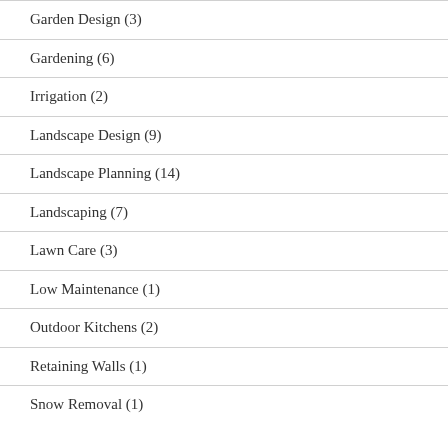Garden Design (3)
Gardening (6)
Irrigation (2)
Landscape Design (9)
Landscape Planning (14)
Landscaping (7)
Lawn Care (3)
Low Maintenance (1)
Outdoor Kitchens (2)
Retaining Walls (1)
Snow Removal (1)